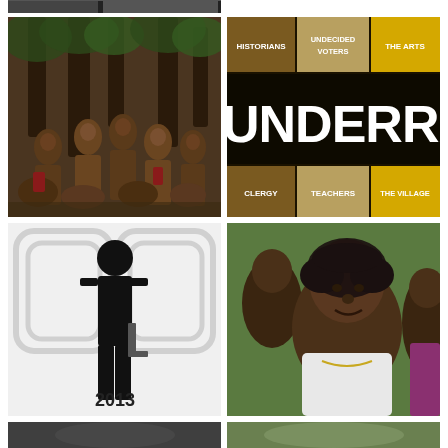[Figure (photo): Partial top strip of a cropped photo, mostly dark/cut off]
[Figure (photo): A group of tribal people standing/sitting in a forest setting, partly unclothed, surrounded by trees]
[Figure (infographic): Dark background graphic with the word UNDERRATED in large white letters, with golden/yellow category tiles reading HISTORIANS, UNDECIDED VOTERS, THE ARTS (top row) and CLERGY, TEACHERS, THE VILLAGE (bottom row)]
[Figure (photo): Black silhouette of a standing person against a white background with rounded rectangle outlines, text '2013' at the bottom]
[Figure (photo): Elderly Black woman with curly hair wearing a white top, smiling, with other people partially visible behind her]
[Figure (photo): Bottom partial strip of two more photos cut off at the page edge]